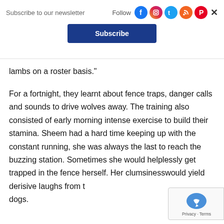Subscribe to our newsletter   Follow
[Figure (screenshot): Subscribe button (blue) and social media icons: Facebook, Instagram, Twitter, RSS, Pinterest, X(close)]
lambs on a roster basis."
For a fortnight, they learnt about fence traps, danger calls and sounds to drive wolves away. The training also consisted of early morning intense exercise to build their stamina. Sheem had a hard time keeping up with the constant running, she was always the last to reach the buzzing station. Sometimes she would helplessly get trapped in the fence herself. Her clumsinesswould yield derisive laughs from the dogs.